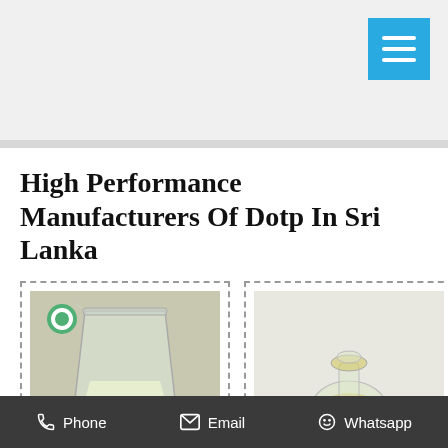High Performance Manufacturers Of Dotp In Sri Lanka
[Figure (photo): Photo of a glass laboratory beaker containing a clear/pale yellow liquid, with a green circular logo watermark in top-left corner and a watermark text at the bottom.]
[Figure (photo): Photo of a small clear glass reagent bottle/vial containing a pale yellow liquid, on a white background.]
Suppliers,
Phone   Email   Whatsapp